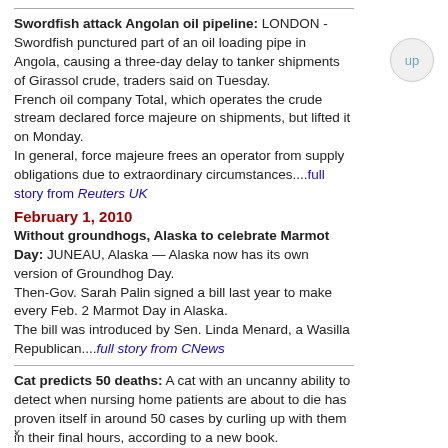Swordfish attack Angolan oil pipeline: LONDON - Swordfish punctured part of an oil loading pipe in Angola, causing a three-day delay to tanker shipments of Girassol crude, traders said on Tuesday.
French oil company Total, which operates the crude stream declared force majeure on shipments, but lifted it on Monday.
In general, force majeure frees an operator from supply obligations due to extraordinary circumstances....full story from Reuters UK
February 1, 2010
Without groundhogs, Alaska to celebrate Marmot Day: JUNEAU, Alaska — Alaska now has its own version of Groundhog Day.
Then-Gov. Sarah Palin signed a bill last year to make every Feb. 2 Marmot Day in Alaska.
The bill was introduced by Sen. Linda Menard, a Wasilla Republican....full story from CNews
Cat predicts 50 deaths: A cat with an uncanny ability to detect when nursing home patients are about to die has proven itself in around 50 cases by curling up with them in their final hours, according to a new book.
Dr David Dosa, a geriatrician and assistant professor at